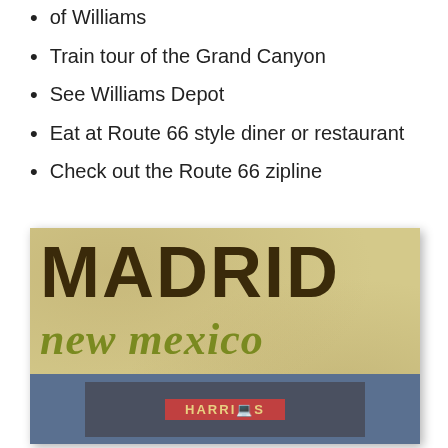of Williams
Train tour of the Grand Canyon
See Williams Depot
Eat at Route 66 style diner or restaurant
Check out the Route 66 zipline
[Figure (illustration): Madrid New Mexico vintage-style poster with parchment background, large dark brown bold text 'MADRID', olive/yellow-green italic text 'new mexico', and a bottom section showing a vintage vehicle or train with signage]